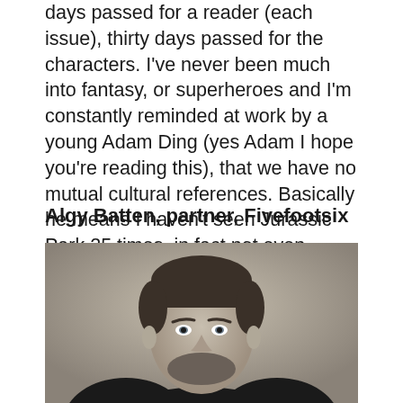days passed for a reader (each issue), thirty days passed for the characters. I've never been much into fantasy, or superheroes and I'm constantly reminded at work by a young Adam Ding (yes Adam I hope you're reading this), that we have no mutual cultural references. Basically he means I haven't seen Jurassic Park 25 times, in fact not even once.'
Algy Batten, partner, Fivefootsix
[Figure (photo): Black and white portrait photo of a man with short hair and beard wearing a dark suit, looking directly at camera against a light grey background.]